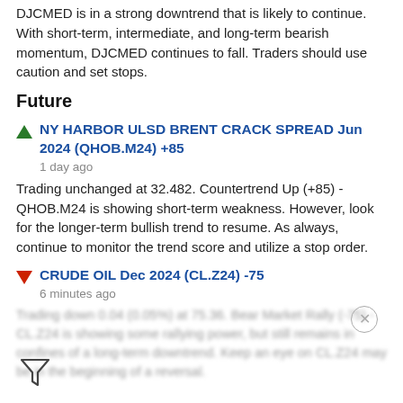DJCMED is in a strong downtrend that is likely to continue. With short-term, intermediate, and long-term bearish momentum, DJCMED continues to fall. Traders should use caution and set stops.
Future
NY HARBOR ULSD BRENT CRACK SPREAD Jun 2024 (QHOB.M24) +85
1 day ago
Trading unchanged at 32.482. Countertrend Up (+85) - QHOB.M24 is showing short-term weakness. However, look for the longer-term bullish trend to resume. As always, continue to monitor the trend score and utilize a stop order.
CRUDE OIL Dec 2024 (CL.Z24) -75
6 minutes ago
Trading down 0.04 (0.05%) at 75.36. Bear Market Rally (-75) - CL.Z24 is showing some rallying power, but still remains in confines of a long-term downtrend. Keep an eye on CL.Z24 may be in the beginning of a reversal.